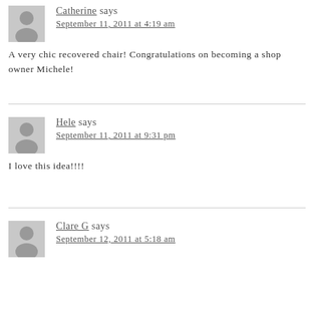Catherine says
September 11, 2011 at 4:19 am
A very chic recovered chair! Congratulations on becoming a shop owner Michele!
Hele says
September 11, 2011 at 9:31 pm
I love this idea!!!!
Clare G says
September 12, 2011 at 5:18 am